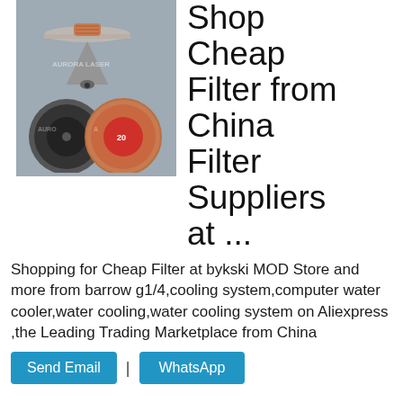[Figure (photo): Product photo showing laser filter components — a conical nozzle piece and two disc-shaped filter pieces with AURORA LASER watermark, on grey background]
Filter
Shop Cheap Filter from China Filter Suppliers at ...
Shopping for Cheap Filter at bykski MOD Store and more from barrow g1/4,cooling system,computer water cooler,water cooling,water cooling system on Aliexpress ,the Leading Trading Marketplace from China
Send Email | WhatsApp
[Figure (infographic): Two large call-to-action buttons: 'Send Email' (light blue with chat bubble icon) and 'Whatsapp' (dark blue with phone icon)]